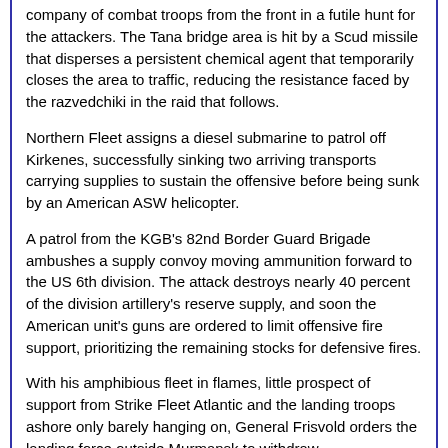company of combat troops from the front in a futile hunt for the attackers. The Tana bridge area is hit by a Scud missile that disperses a persistent chemical agent that temporarily closes the area to traffic, reducing the resistance faced by the razvedchiki in the raid that follows.
Northern Fleet assigns a diesel submarine to patrol off Kirkenes, successfully sinking two arriving transports carrying supplies to sustain the offensive before being sunk by an American ASW helicopter.
A patrol from the KGB's 82nd Border Guard Brigade ambushes a supply convoy moving ammunition forward to the US 6th division. The attack destroys nearly 40 percent of the division artillery's reserve supply, and soon the American unit's guns are ordered to limit offensive fire support, prioritizing the remaining stocks for defensive fires.
With his amphibious fleet in flames, little prospect of support from Strike Fleet Atlantic and the landing troops ashore only barely hanging on, General Frisvold orders the landing force outside Murmansk to withdraw.
The American aircraft carrier Coral Sea, operating in the North Sea, finds that the front line in Poland is moving ever farther away from its position. The commander requests permission to move the carrier south, closer to the action.
The first companies of the 71st Airborne Brigade (Oklahoma, Arkansas, Kansas and Texas National Guards)'s 1st Battalion